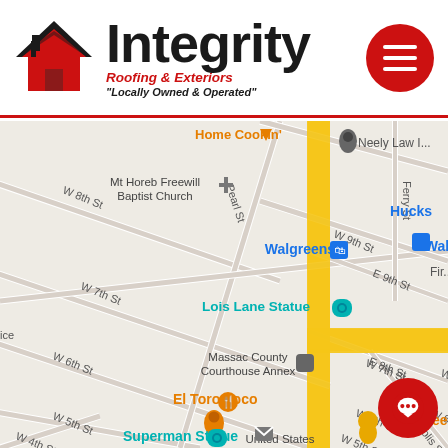[Figure (logo): Integrity Roofing & Exteriors logo with red house icon, large black 'Integrity' text, red italic 'Roofing & Exteriors', black italic '"Locally Owned & Operated"' tagline, and red circular hamburger menu button on the right.]
[Figure (map): Google Maps screenshot showing a street map of Metropolis, IL area with landmarks including Mt Horeb Freewill Baptist Church, Walgreens, Hucks, Lois Lane Statue, Massac County Courthouse Annex, El Toro Loco, Hardee's, Superman Statue, and United States Post Office. Streets shown include W 8th St, W 7th St, W 6th St, W 5th St, W 4th St, Pearl St, Ferry St, W 9th St, E 9th St, E 8th St, Metropolitan St. A yellow route line is highlighted on the map.]